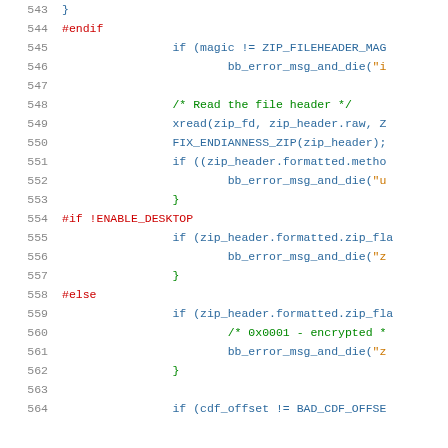Source code listing lines 543-564, C preprocessor and zip file parsing code